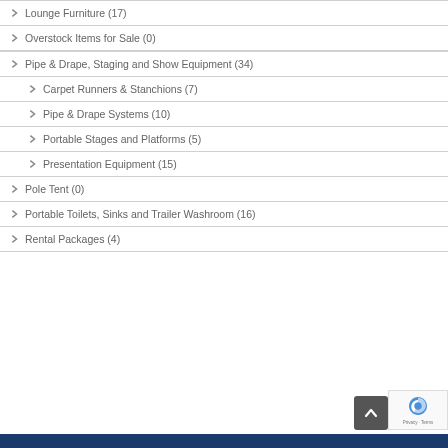Lounge Furniture (17)
Overstock Items for Sale (0)
Pipe & Drape, Staging and Show Equipment (34)
Carpet Runners & Stanchions (7)
Pipe & Drape Systems (10)
Portable Stages and Platforms (5)
Presentation Equipment (15)
Pole Tent (0)
Portable Toilets, Sinks and Trailer Washroom (16)
Rental Packages (4)